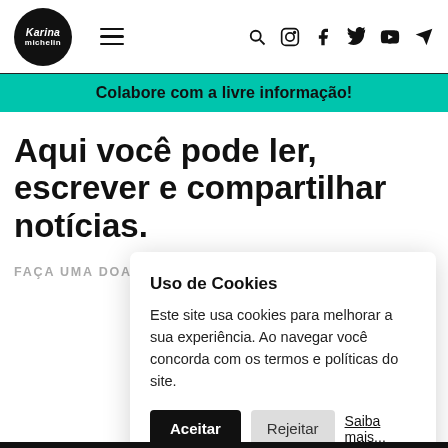Karina Michelin — navigation header with logo, hamburger menu, search, instagram, facebook, twitter, youtube, telegram icons
Colabore com a livre informação!
Aqui você pode ler, escrever e compartilhar notícias.
FAÇA UMA DOAÇÃO
Uso de Cookies
Este site usa cookies para melhorar a sua experiência. Ao navegar você concorda com os termos e políticas do site.
Aceitar  Rejeitar  Saiba mais...